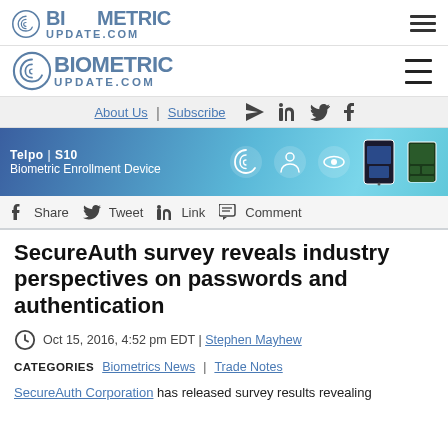BIOMETRIC UPDATE.COM
[Figure (logo): Biometric Update.com logo with fingerprint icon]
About Us | Subscribe
[Figure (infographic): Telpo S10 Biometric Enrollment Device advertisement banner]
Share  Tweet  Link  Comment
SecureAuth survey reveals industry perspectives on passwords and authentication
Oct 15, 2016, 4:52 pm EDT | Stephen Mayhew
CATEGORIES   Biometrics News | Trade Notes
SecureAuth Corporation has released survey results revealing